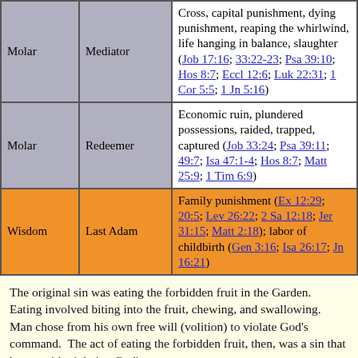| Category | Role | Description |
| --- | --- | --- |
| Molar | Mediator | Cross, capital punishment, dying punishment, reaping the whirlwind, life hanging in balance, slaughter (Job 17:16; 33:22-23; Psa 39:10; Hos 8:7; Eccl 12:6; Luk 22:31; 1 Cor 5:5; 1 Jn 5:16) |
| Molar | Redeemer | Economic ruin, plundered possessions, raided, trapped, captured (Job 33:24; Psa 39:11; 49:7; Isa 47:1-4; Hos 8:7; Matt 25:9; 1 Tim 6:9) |
| Wisdom | Last Adam | Family punishment (Ex 12:29; 20:5; Lev 26:22; 2 Sa 12:18; Jer 31:15; Matt 2:18); labor of childbirth (Gen 3:16; Isa 26:17; Jn 16:21) |
The original sin was eating the forbidden fruit in the Garden. Eating involved biting into the fruit, chewing, and swallowing. Man chose from his own free will (volition) to violate God's command. The act of eating the forbidden fruit, then, was a sin that began with violating God's